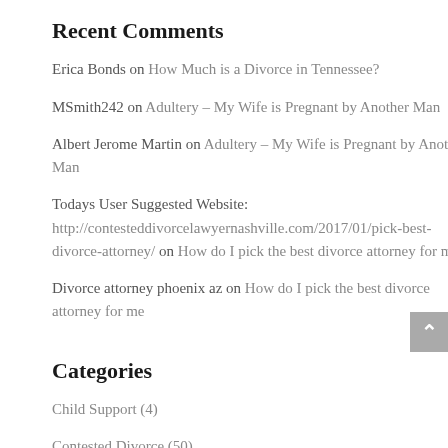Recent Comments
Erica Bonds on How Much is a Divorce in Tennessee?
MSmith242 on Adultery – My Wife is Pregnant by Another Man
Albert Jerome Martin on Adultery – My Wife is Pregnant by Another Man
Todays User Suggested Website: http://contesteddivorcelawyernashville.com/2017/01/pick-best-divorce-attorney/ on How do I pick the best divorce attorney for me
Divorce attorney phoenix az on How do I pick the best divorce attorney for me
Categories
Child Support (4)
Contested Divorce (50)